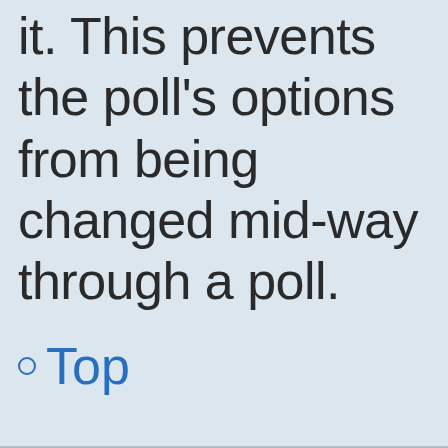it. This prevents the poll's options from being changed mid-way through a poll.
Top